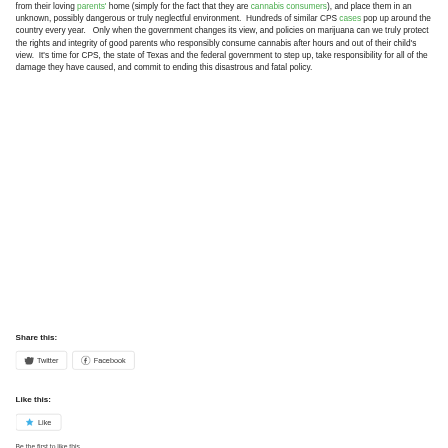from their loving parents' home (simply for the fact that they are cannabis consumers), and place them in an unknown, possibly dangerous or truly neglectful environment.  Hundreds of similar CPS cases pop up around the country every year.   Only when the government changes its view, and policies on marijuana can we truly protect the rights and integrity of good parents who responsibly consume cannabis after hours and out of their child's view.  It's time for CPS, the state of Texas and the federal government to step up, take responsibility for all of the damage they have caused, and commit to ending this disastrous and fatal policy.
Share this:
Twitter
Facebook
Like this:
Like
Be the first to like this.